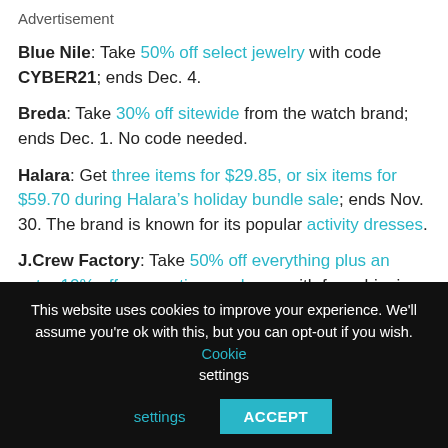Advertisement
Blue Nile: Take 50% off select jewelry with code CYBER21; ends Dec. 4.
Breda: Take 30% off sitewide from the watch brand; ends Dec. 1. No code needed.
Halara: Get three items for $29.85, or six items for $59.70 during Halara’s holiday bundle sale; ends Nov. 30. The brand is known for its popular activity dresses.
J.Crew Factory: Take 50% off everything plus an extra 10% off your entire purchase, with free shipping and an extra
This website uses cookies to improve your experience. We'll assume you're ok with this, but you can opt-out if you wish. Cookie settings ACCEPT